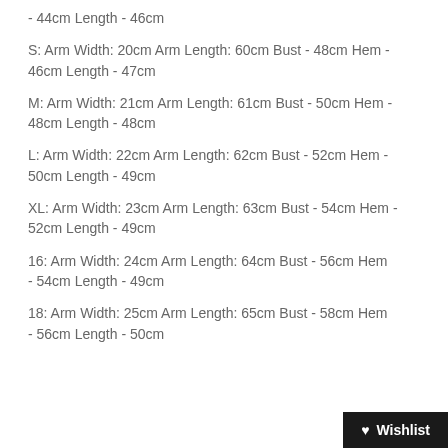- 44cm Length - 46cm
S: Arm Width: 20cm Arm Length: 60cm Bust - 48cm Hem - 46cm Length - 47cm
M: Arm Width: 21cm Arm Length: 61cm Bust - 50cm Hem - 48cm Length - 48cm
L: Arm Width: 22cm Arm Length: 62cm Bust - 52cm Hem - 50cm Length - 49cm
XL: Arm Width: 23cm Arm Length: 63cm Bust - 54cm Hem - 52cm Length - 49cm
16: Arm Width: 24cm Arm Length: 64cm Bust - 56cm Hem - 54cm Length - 49cm
18: Arm Width: 25cm Arm Length: 65cm Bust - 58cm Hem - 56cm Length - 50cm